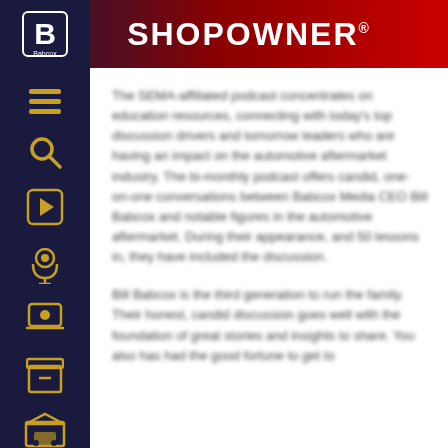SHOPOWNER
The SEMA-affiliated podcast concentrates on education resources, connecting with today's top discussion drivers and tomorrow leaders who are having an impact on the automotive aftermarket industry. The bi-monthly podcast offers candid, one-on-one conversations between Babcox Media CEO Bill Babcox and notable figures in the automotive aftermarket. During their appearance, and 50 lessons in, they have included the discussion.
Bill Babcox is the third generation to run the family. Their honest, candid discussion goes well with the foundation of great stories and insights to share. You also has had the good fortune to get to